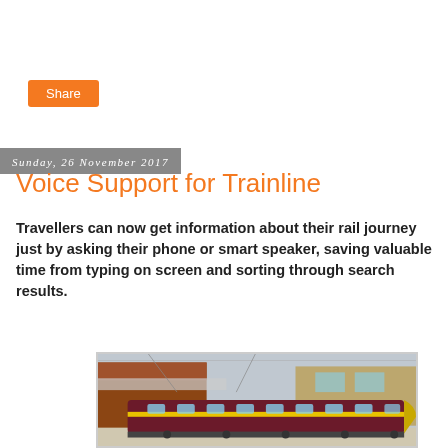Share
Sunday, 26 November 2017
Voice Support for Trainline
Travellers can now get information about their rail journey just by asking their phone or smart speaker, saving valuable time from typing on screen and sorting through search results.
[Figure (photo): A train at a railway station platform, showing a modern intercity train in dark red and yellow livery, with station buildings and overhead lines visible in the background.]